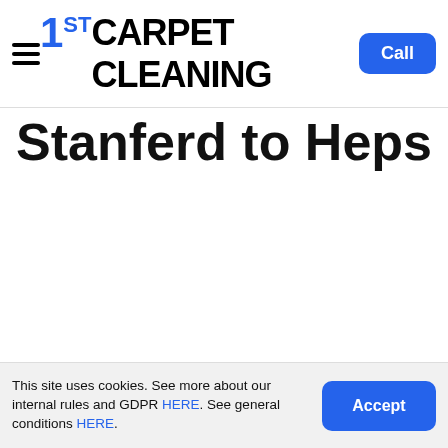1ST CARPET CLEANING — navigation bar with hamburger menu and Call button
Stanferd to Heps
This site uses cookies. See more about our internal rules and GDPR HERE. See general conditions HERE.